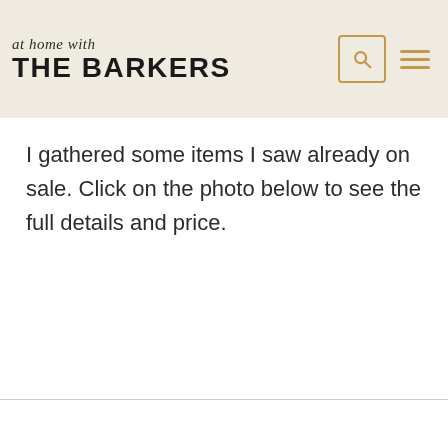at home with THE BARKERS
I gathered some items I saw already on sale. Click on the photo below to see the full details and price.